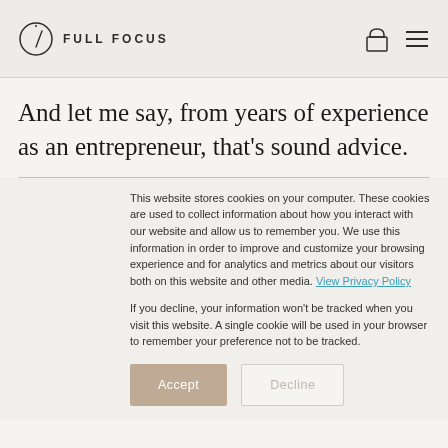FULL FOCUS
And let me say, from years of experience as an entrepreneur, that's sound advice.
This website stores cookies on your computer. These cookies are used to collect information about how you interact with our website and allow us to remember you. We use this information in order to improve and customize your browsing experience and for analytics and metrics about our visitors both on this website and other media. View Privacy Policy

If you decline, your information won't be tracked when you visit this website. A single cookie will be used in your browser to remember your preference not to be tracked.
Accept | Decline